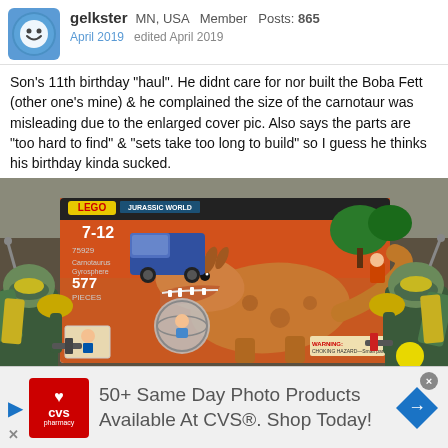gelkster MN, USA Member Posts: 865 April 2019 edited April 2019
Son's 11th birthday "haul". He didnt care for nor built the Boba Fett (other one's mine) & he complained the size of the carnotaur was misleading due to the enlarged cover pic. Also says the parts are "too hard to find" & "sets take too long to build" so I guess he thinks his birthday kinda sucked.
[Figure (photo): A photo showing a LEGO Jurassic World set box (7-12, 577 pieces, featuring a carnotaur dinosaur and vehicle) placed on a table, flanked by two Boba Fett action figures on either side.]
[Figure (infographic): CVS Pharmacy advertisement banner: '50+ Same Day Photo Products Available At CVS®. Shop Today!' with CVS pharmacy logo, play button, directional arrow diamond, close X button.]